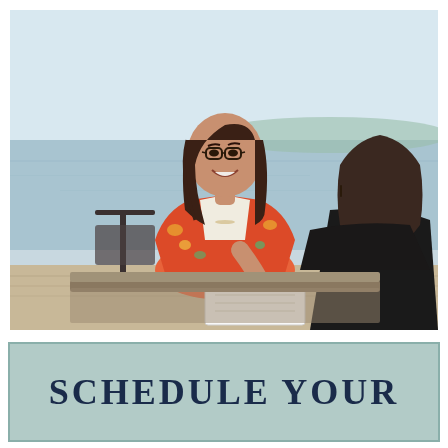[Figure (photo): Two women having a consultation meeting outdoors near a waterfront. One woman wearing a red floral kimono and glasses is smiling and taking notes on a notebook. The other woman is seen from behind wearing a dark top. They are seated at a table with rocks and water visible in the background.]
SCHEDULE YOUR